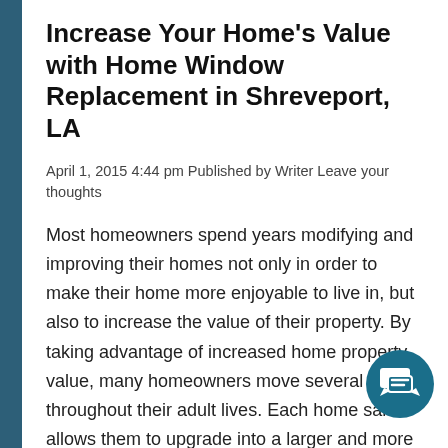Increase Your Home's Value with Home Window Replacement in Shreveport, LA
April 1, 2015 4:44 pm Published by Writer Leave your thoughts
Most homeowners spend years modifying and improving their homes not only in order to make their home more enjoyable to live in, but also to increase the value of their property. By taking advantage of increased home property value, many homeowners move several times throughout their adult lives. Each home sale allows them to upgrade into a larger and more luxurious home. Increasing your home property value is pretty tricky business if you want to do it correctly. Real estate experts are likely to tell you that some